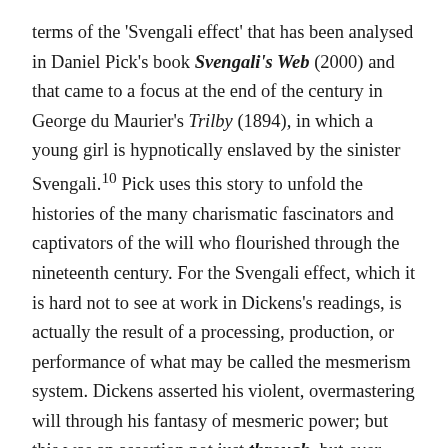terms of the 'Svengali effect' that has been analysed in Daniel Pick's book Svengali's Web (2000) and that came to a focus at the end of the century in George du Maurier's Trilby (1894), in which a young girl is hypnotically enslaved by the sinister Svengali.¹⁰ Pick uses this story to unfold the histories of the many charismatic fascinators and captivators of the will who flourished through the nineteenth century. For the Svengali effect, which it is hard not to see at work in Dickens's readings, is actually the result of a processing, production, or performance of what may be called the mesmerism system. Dickens asserted his violent, overmastering will through his fantasy of mesmeric power; but this was an assertion not just through, but over mesmerism. It was a binding of others to his will through mesmerism, and a bending of mesmerism itself to his will. What must be subdued in mesmerism is precisely that in it